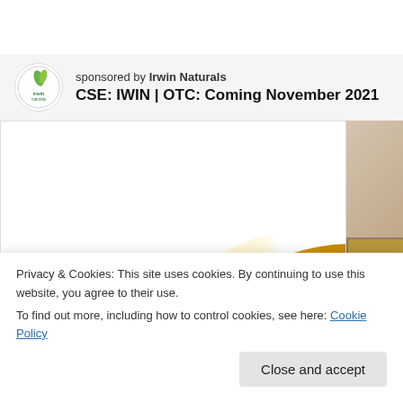[Figure (logo): Irwin Naturals logo — circular white badge with green leaf/plant graphic and 'irwin naturals' text]
sponsored by Irwin Naturals
CSE: IWIN | OTC: Coming November 2021
[Figure (photo): Close-up photo of shiny golden/amber gel capsules on a white background, partially cropped. A side panel shows a blurred lifestyle image with a small bowl of supplements and a green leaf.]
Privacy & Cookies: This site uses cookies. By continuing to use this website, you agree to their use.
To find out more, including how to control cookies, see here: Cookie Policy
Close and accept